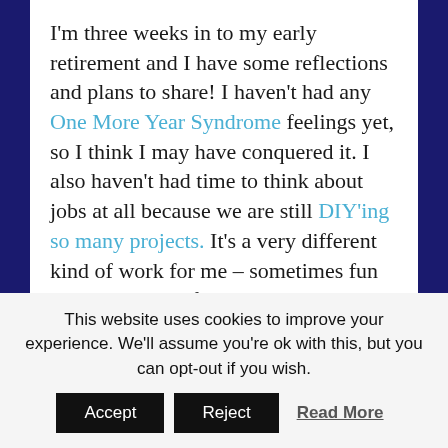I'm three weeks in to my early retirement and I have some reflections and plans to share! I haven't had any One More Year Syndrome feelings yet, so I think I may have conquered it. I also haven't had time to think about jobs at all because we are still DIY'ing so many projects. It's a very different kind of work for me – sometimes fun and other times frustrating, but very satisfying knowing we are working for ourselves too!
This website uses cookies to improve your experience. We'll assume you're ok with this, but you can opt-out if you wish. Accept Reject Read More